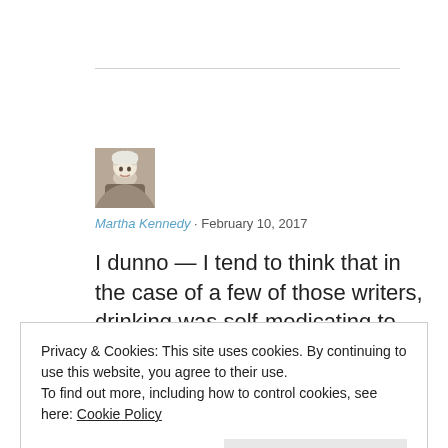[Figure (photo): Small square avatar photo of Martha Kennedy, showing a person with light hair]
Martha Kennedy · February 10, 2017
I dunno — I tend to think that in the case of a few of those writers, drinking was self-medicating to cover up or escape something
Privacy & Cookies: This site uses cookies. By continuing to use this website, you agree to their use.
To find out more, including how to control cookies, see here: Cookie Policy
Close and accept